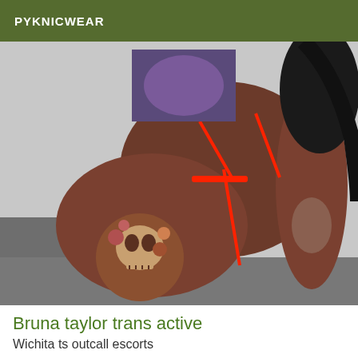PYKNICWEAR
[Figure (photo): A person with extensive tattoos on arms and legs, wearing a red bikini, posed on a grey couch. A skull and floral tattoo is prominent on the thigh.]
Bruna taylor trans active
Wichita ts outcall escorts